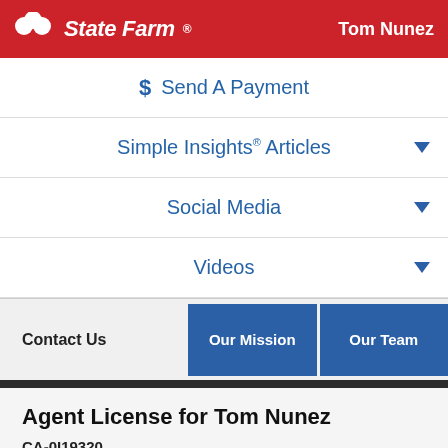State Farm — Tom Nunez
$ Send A Payment
Simple Insights® Articles
Social Media
Videos
Contact Us | Our Mission | Our Team
Agent License for Tom Nunez
CA-0I19320